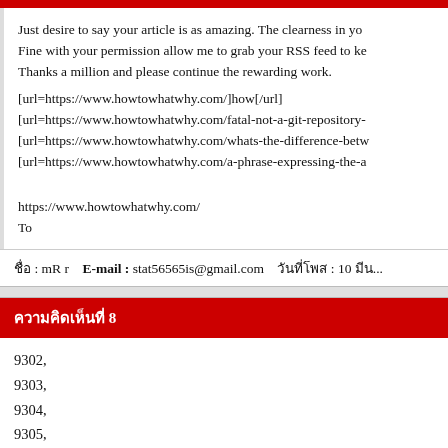Just desire to say your article is as amazing. The clearness in yo Fine with your permission allow me to grab your RSS feed to ke Thanks a million and please continue the rewarding work. [url=https://www.howtowhatwhy.com/]how[/url] [url=https://www.howtowhatwhy.com/fatal-not-a-git-repository- [url=https://www.howtowhatwhy.com/whats-the-difference-betw [url=https://www.howtowhatwhy.com/a-phrase-expressing-the-a

https://www.howtowhatwhy.com/
To
ชื่อ : mR r   E-mail : stat56565is@gmail.com   วันที่โพส : 10 มีน...
ความคิดเห็นที่ 8
9302,
9303,
9304,
9305,
9306,
9307,
9308,
9309,
9310,